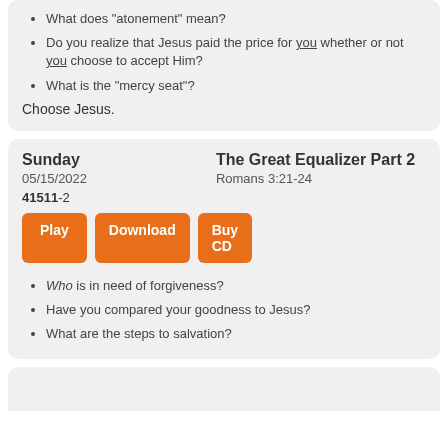What does "atonement" mean?
Do you realize that Jesus paid the price for you whether or not you choose to accept Him?
What is the "mercy seat"?
Choose Jesus.
Sunday | 05/15/2022 | 41511-2
The Great Equalizer Part 2
Romans 3:21-24
Play | Download | Buy CD
Who is in need of forgiveness?
Have you compared your goodness to Jesus?
What are the steps to salvation?